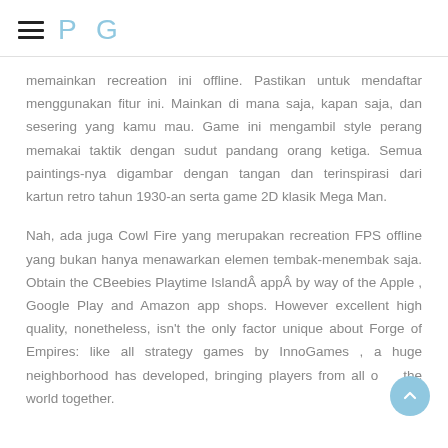P G
memainkan recreation ini offline. Pastikan untuk mendaftar menggunakan fitur ini. Mainkan di mana saja, kapan saja, dan sesering yang kamu mau. Game ini mengambil style perang memakai taktik dengan sudut pandang orang ketiga. Semua paintings-nya digambar dengan tangan dan terinspirasi dari kartun retro tahun 1930-an serta game 2D klasik Mega Man.
Nah, ada juga Cowl Fire yang merupakan recreation FPS offline yang bukan hanya menawarkan elemen tembak-menembak saja. Obtain the CBeebies Playtime IslandÂ appÂ by way of the Apple , Google Play and Amazon app shops. However excellent high quality, nonetheless, isn't the only factor unique about Forge of Empires: like all strategy games by InnoGames , a huge neighborhood has developed, bringing players from all over the world together.